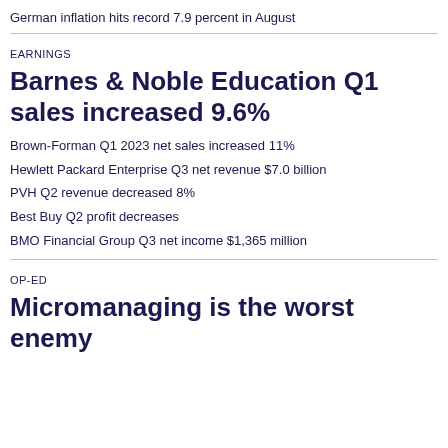German inflation hits record 7.9 percent in August
EARNINGS
Barnes & Noble Education Q1 sales increased 9.6%
Brown-Forman Q1 2023 net sales increased 11%
Hewlett Packard Enterprise Q3 net revenue $7.0 billion
PVH Q2 revenue decreased 8%
Best Buy Q2 profit decreases
BMO Financial Group Q3 net income $1,365 million
OP-ED
Micromanaging is the worst enemy